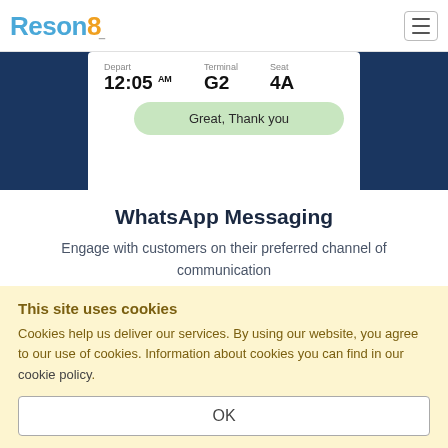Reson8
[Figure (screenshot): WhatsApp-style boarding pass card showing Depart 12:05 AM, Terminal G2, Seat 4A, with a green bubble saying 'Great, Thank you' on a dark navy background]
WhatsApp Messaging
Engage with customers on their preferred channel of communication
This site uses cookies
Cookies help us deliver our services. By using our website, you agree to our use of cookies. Information about cookies you can find in our cookie policy.
OK